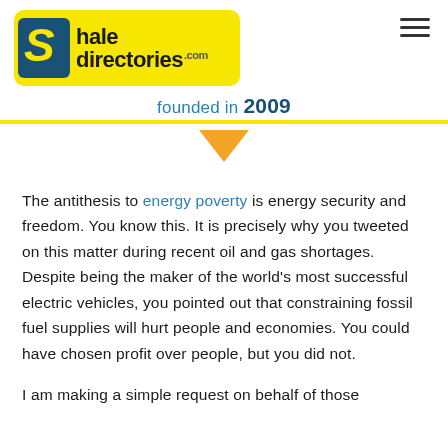[Figure (logo): ShalDirectories.com logo on yellow background with blue S icon, founded in 2009 tagline]
[Figure (illustration): Orange/yellow right-pointing arrow or chevron icon centered below yellow rule]
The antithesis to energy poverty is energy security and freedom. You know this. It is precisely why you tweeted on this matter during recent oil and gas shortages. Despite being the maker of the world's most successful electric vehicles, you pointed out that constraining fossil fuel supplies will hurt people and economies. You could have chosen profit over people, but you did not.
I am making a simple request on behalf of those